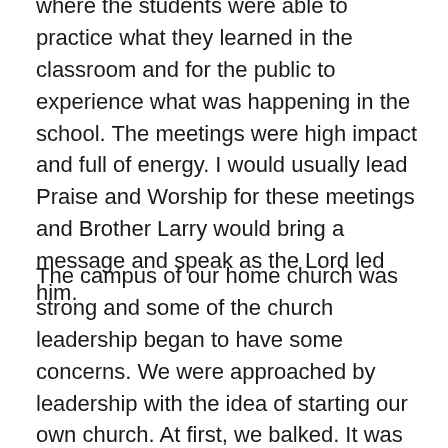where the students were able to practice what they learned in the classroom and for the public to experience what was happening in the school. The meetings were high impact and full of energy. I would usually lead Praise and Worship for these meetings and Brother Larry would bring a message and speak as the Lord led him.
The campus of our home church was strong and some of the church leadership began to have some concerns. We were approached by leadership with the idea of starting our own church. At first, we balked. It was not our intention, ever, of starting a church. But, the